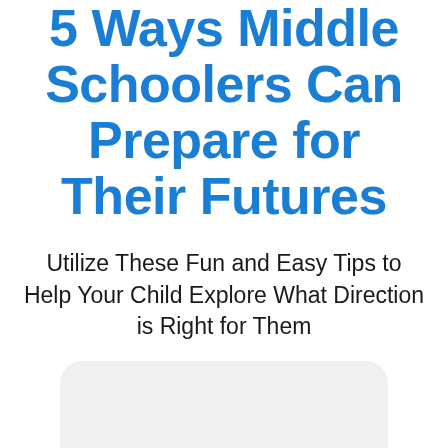5 Ways Middle Schoolers Can Prepare for Their Futures
Utilize These Fun and Easy Tips to Help Your Child Explore What Direction is Right for Them